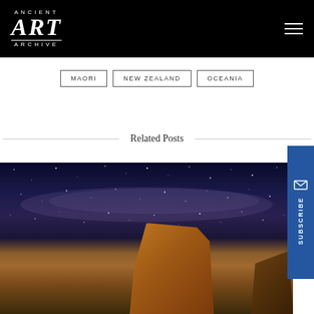[Figure (logo): Ancient Art Archive logo — white text on black background with 'ANCIENT' in small caps, large 'ART' in serif italic, and 'ARCHIVE' in small caps below]
MAORI
NEW ZEALAND
OCEANIA
Related Posts
[Figure (photo): Night sky photo with Milky Way stars and illuminated rock formation/petroglyph in the foreground]